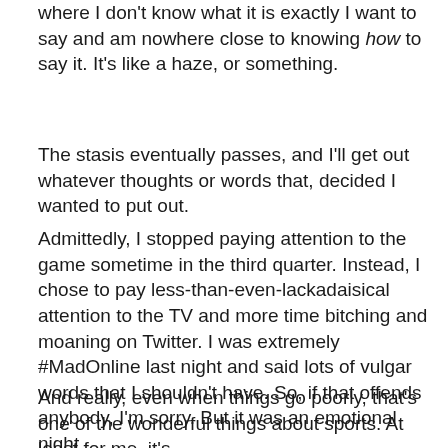where I don't know what it is exactly I want to say and am nowhere close to knowing how to say it. It's like a haze, or something.
The stasis eventually passes, and I'll get out whatever thoughts or words that, decided I wanted to put out.
Admittedly, I stopped paying attention to the game sometime in the third quarter. Instead, I chose to pay less-than-even-lackadaisical attention to the TV and more time bitching and moaning on Twitter. I was extremely #MadOnline last night and said lots of vulgar words that I shouldn't have. So, if that offends anybody, I'm sorry. But it was an emotional night.
And really, even when things go poorly, that's one of the wonderful things about sports. At least for me, it's